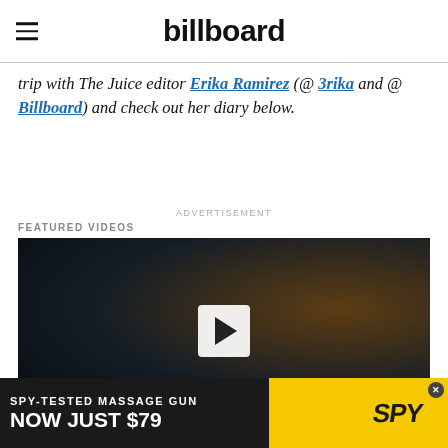billboard
trip with The Juice editor Erika Ramirez (@ 3rika and @ Billboard) and check out her diary below.
ADVERTISEMENT
FEATURED VIDEOS
[Figure (screenshot): Dark video player thumbnail with amber/orange glow on right side and teal glow at bottom, white play button in center, X close button at bottom right]
[Figure (other): Advertisement banner: SPY-TESTED MASSAGE GUN NOW JUST $79 with SPY logo on yellow background]